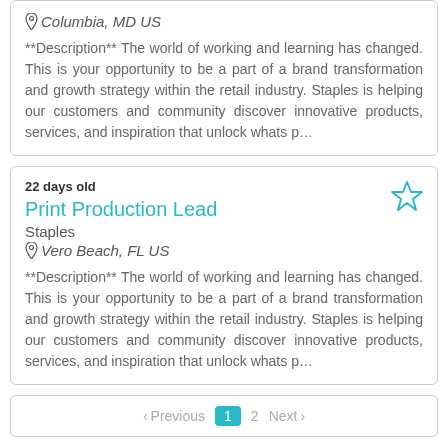Columbia, MD US
**Description** The world of working and learning has changed. This is your opportunity to be a part of a brand transformation and growth strategy within the retail industry. Staples is helping our customers and community discover innovative products, services, and inspiration that unlock whats p...
22 days old
Print Production Lead
Staples
Vero Beach, FL US
**Description** The world of working and learning has changed. This is your opportunity to be a part of a brand transformation and growth strategy within the retail industry. Staples is helping our customers and community discover innovative products, services, and inspiration that unlock whats p...
< Previous  1  2  Next >